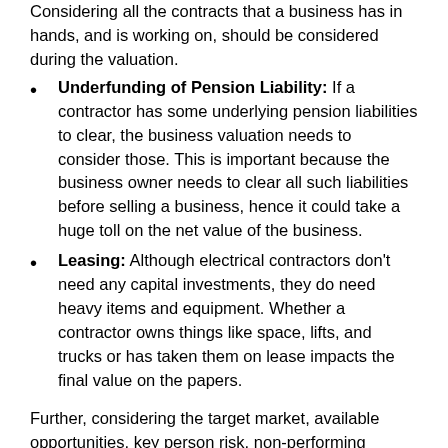Considering all the contracts that a business has in hands, and is working on, should be considered during the valuation.
Underfunding of Pension Liability: If a contractor has some underlying pension liabilities to clear, the business valuation needs to consider those. This is important because the business owner needs to clear all such liabilities before selling a business, hence it could take a huge toll on the net value of the business.
Leasing: Although electrical contractors don't need any capital investments, they do need heavy items and equipment. Whether a contractor owns things like space, lifts, and trucks or has taken them on lease impacts the final value on the papers.
Further, considering the target market, available opportunities, key person risk, non-performing